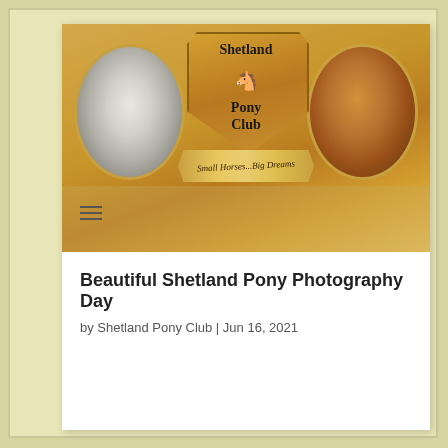[Figure (logo): Shetland Pony Club banner with logo shield, two oval pony photos (white pony left, brown pony right), tagline 'Small Horses...Big Dreams'. Navigation menu with hamburger icon below.]
Beautiful Shetland Pony Photography Day
by Shetland Pony Club | Jun 16, 2021